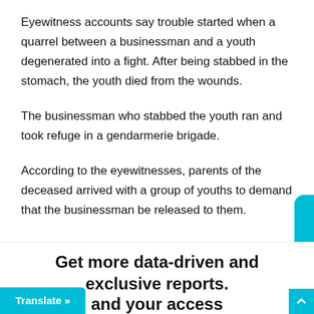Eyewitness accounts say trouble started when a quarrel between a businessman and a youth degenerated into a fight. After being stabbed in the stomach, the youth died from the wounds.
The businessman who stabbed the youth ran and took refuge in a gendarmerie brigade.
According to the eyewitnesses, parents of the deceased arrived with a group of youths to demand that the businessman be released to them.
Get more data-driven and exclusive reports.
and your access
Translate »